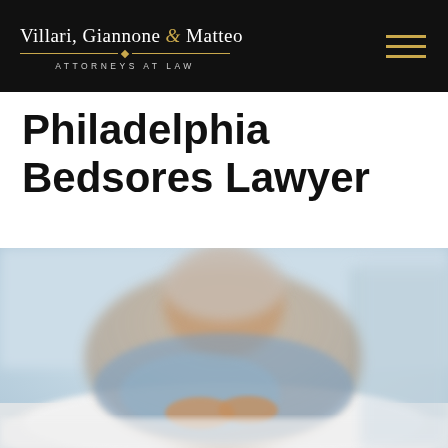Villari, Giannone & Matteo — ATTORNEYS AT LAW
Philadelphia Bedsores Lawyer
[Figure (photo): Elderly woman lying in a hospital bed, hands folded over a white blanket, blurred background suggesting a medical facility setting.]